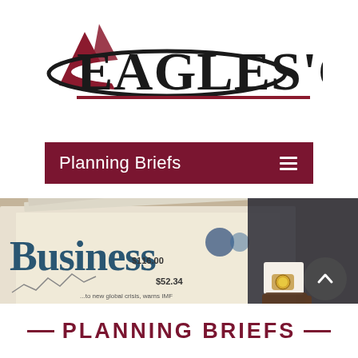[Figure (logo): Eagles' Club logo with red triangle/sail graphic, black oval swoosh, large bold serif text 'EAGLES' CLUB' and dark red underline]
Planning Briefs
[Figure (photo): Person in dark suit holding a Business newspaper with financial charts and numbers visible, including $116.00 and $52.34 headlines]
PLANNING BRIEFS